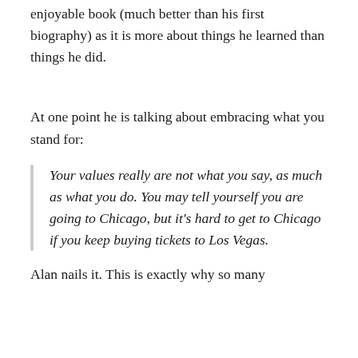enjoyable book (much better than his first biography) as it is more about things he learned than things he did.
At one point he is talking about embracing what you stand for:
Your values really are not what you say, as much as what you do. You may tell yourself you are going to Chicago, but it's hard to get to Chicago if you keep buying tickets to Los Vegas.
Alan nails it. This is exactly why so many